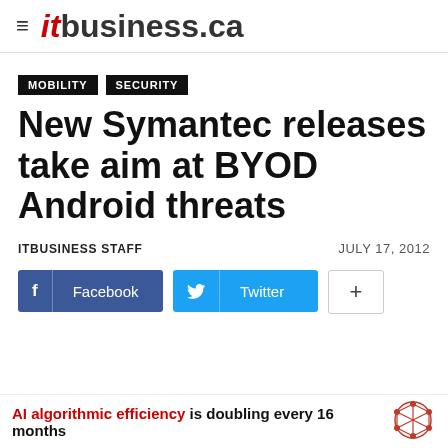itbusiness.ca
MOBILITY  SECURITY
New Symantec releases take aim at BYOD Android threats
ITBUSINESS STAFF   JULY 17, 2012
[Figure (other): Social share buttons: Facebook, Twitter, and a plus/more button]
AI algorithmic efficiency is doubling every 16 months